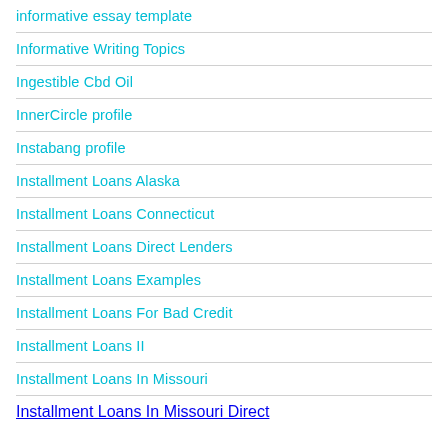informative essay template
Informative Writing Topics
Ingestible Cbd Oil
InnerCircle profile
Instabang profile
Installment Loans Alaska
Installment Loans Connecticut
Installment Loans Direct Lenders
Installment Loans Examples
Installment Loans For Bad Credit
Installment Loans II
Installment Loans In Missouri
Installment Loans In Missouri Direct